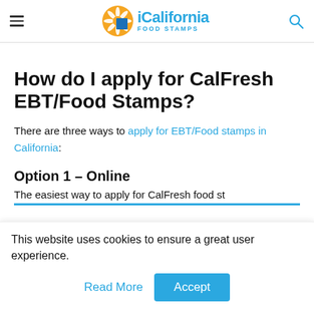iCalifornia FOOD STAMPS
How do I apply for CalFresh EBT/Food Stamps?
There are three ways to apply for EBT/Food stamps in California:
Option 1 – Online
The easiest way to apply for CalFresh food st...
This website uses cookies to ensure a great user experience.